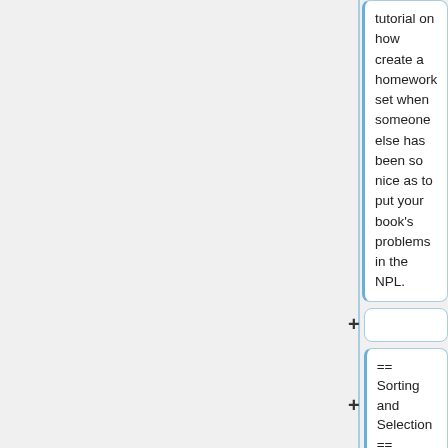tutorial on how create a homework set when someone else has been so nice as to put your book's problems in the NPL.
== Sorting and Selection ==
* The final case - You are creating a homework set and have to find problems for the subject you are covering, rather than just selection from